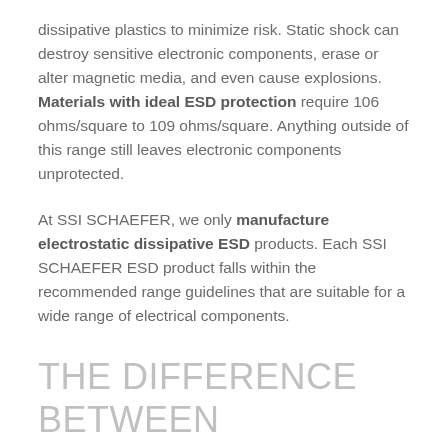dissipative plastics to minimize risk. Static shock can destroy sensitive electronic components, erase or alter magnetic media, and even cause explosions. Materials with ideal ESD protection require 106 ohms/square to 109 ohms/square. Anything outside of this range still leaves electronic components unprotected.
At SSI SCHAEFER, we only manufacture electrostatic dissipative ESD products. Each SSI SCHAEFER ESD product falls within the recommended range guidelines that are suitable for a wide range of electrical components.
THE DIFFERENCE BETWEEN DISSIPATIVE AND CONDUCTIVE